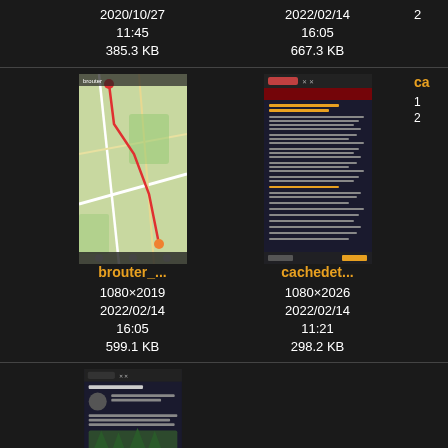2020/10/27
11:45
385.3 KB
2022/02/14
16:05
667.3 KB
[Figure (screenshot): Thumbnail of brouter app showing a map with routing overlay]
brouter_...
1080×2019
2022/02/14
16:05
599.1 KB
[Figure (screenshot): Thumbnail of cachedet app showing a dark-themed text/detail screen]
cachedet...
1080×2026
2022/02/14
11:21
298.2 KB
[Figure (screenshot): Thumbnail of cachedet app showing a detail page with image of a forest/trail]
cachedet...
1080×2033
2022/02/14
cachedet...
1080×2031
2022/02/14
ca